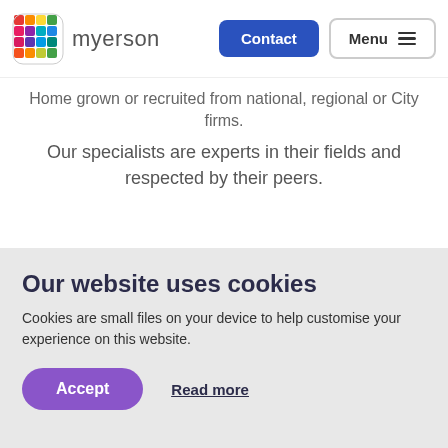myerson | Contact | Menu
Home grown or recruited from national, regional or City firms. Our specialists are experts in their fields and respected by their peers.
Our website uses cookies
Cookies are small files on your device to help customise your experience on this website.
Accept | Read more